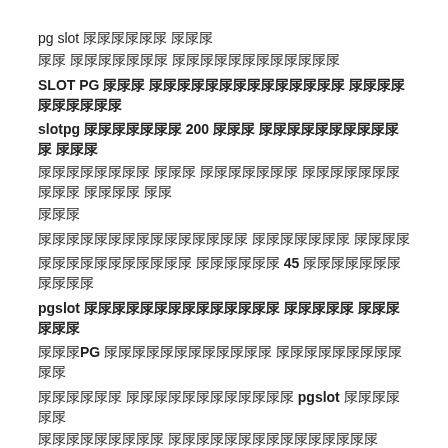pg slot ภาภาภาภา ภาภา
ภา ภาภาภาภา ภาภาภาภาภาภาภา
SLOT PG ภาภา ภาภาภาภาภาภาภาภาภา ภาภาภาภาภาภาภาภา
slotpg ภาภาภาภา 200 ภาภา ภาภาภาภาภาภาภา ภาภา ภาภาภาภาภาภา ภาภา ภาภาภาภา ภาภาภาภา ภาภา ภาภา ภา ภาภา
ภาภาภาภาภาภาภาภาภาภาภาภาภา ภาภาภาภา ภาภาภา
ภาภาภาภาภาภาภา ภาภาภาภา 45 ภาภาภาภาภาภาภาภาภาภา
pgslot ภาภาภาภาภาภาภาภาภาภาภา ภาภาภา ภาภาภาภาภา
ภาภาPG ภาภาภาภาภาภาภาภาภาภา ภาภาภาภาภาภาภาภาภา
ภาภาภาภา ภาภาภาภาภาภาภาภาภาภา pgslot ภาภาภาภาภา ภาภาภาภาภาภาภา ภาภาภาภาภาภาภาภาภาภาภาภา
ภาภาภาภา ภาภาภาภาภาภา10,000 ภาภา
ภาภาภาภาภาภาภาภาภา PGSLOT ภาภ
ภาภาภาภาภาภาภาภาภาภา ภาภาภา 24 ภา.